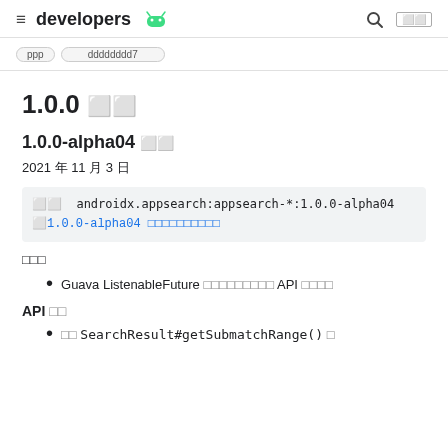≡ developers 🤖 🔍 ⬜⬜
[nav tabs strip]
1.0.0 □□
1.0.0-alpha04 □□
2021 年 11 月 3 日
□□  androidx.appsearch:appsearch-*:1.0.0-alpha04 □1.0.0-alpha04 □□□□□□□□□□
□□□
Guava ListenableFuture □□□□□□□□□ API □□□□
API □□
□□ SearchResult#getSubmatchRange() □